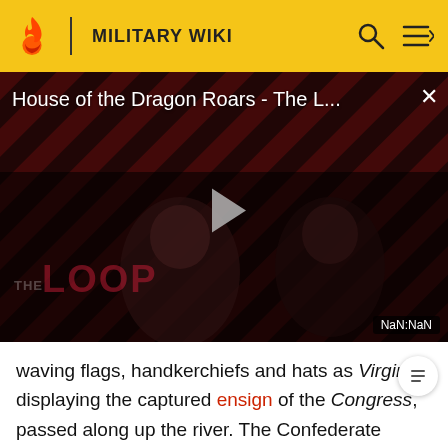MILITARY WIKI
[Figure (screenshot): Video player showing 'House of the Dragon Roars - The L...' with a dark red diagonal stripe background, two figures visible, a play button in center, THE LOOP logo at bottom left, and NaN:NaN timestamp at bottom right.]
waving flags, handkerchiefs and hats as Virginia, displaying the captured ensign of the Congress, passed along up the river. The Confederate government was ecstatic and immediately promoted Commander Buchanan to Admiral.[127]